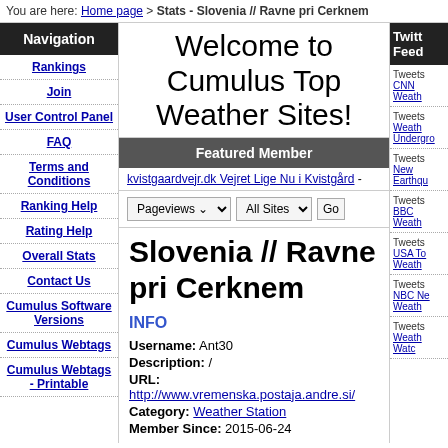You are here: Home page > Stats - Slovenia // Ravne pri Cerknem
Navigation
Rankings
Join
User Control Panel
FAQ
Terms and Conditions
Ranking Help
Rating Help
Overall Stats
Contact Us
Cumulus Software Versions
Cumulus Webtags
Cumulus Webtags - Printable
Welcome to Cumulus Top Weather Sites!
Featured Member
kvistgaardvejr.dk Vejret Lige Nu i Kvistgård -
Pageviews  All Sites  Go
Slovenia // Ravne pri Cerknem
INFO
Username: Ant30
Description: /
URL: http://www.vremenska.postaja.andre.si/
Category: Weather Station
Member Since: 2015-06-24
Add your weather site - Join Here
Average Rating: 5 / 5
Number of Ratings: 45
Twitter Feed
Tweets CNN Weather
Tweets Weather Underground
Tweets New Earthquake
Tweets BBC Weather
Tweets USA Today Weather
Tweets NBC News Weather
Tweets Weather Watch